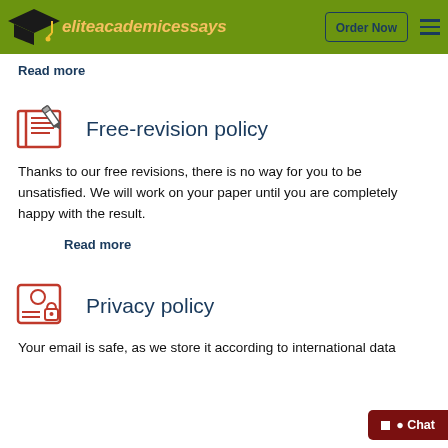[Figure (screenshot): Elite Academic Essays website navigation bar with logo (mortarboard icon), site name 'eliteacademicessays' in italic gold, 'Order Now' button, and hamburger menu on olive/green background]
Read more
Free-revision policy
Thanks to our free revisions, there is no way for you to be unsatisfied. We will work on your paper until you are completely happy with the result.
Read more
Privacy policy
Your email is safe, as we store it according to international data